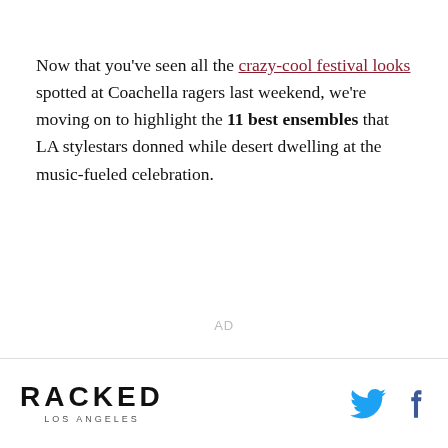Now that you've seen all the crazy-cool festival looks spotted at Coachella ragers last weekend, we're moving on to highlight the 11 best ensembles that LA stylestars donned while desert dwelling at the music-fueled celebration.
AD
RACKED LOS ANGELES